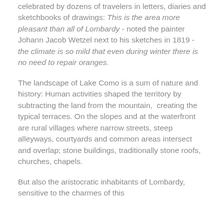celebrated by dozens of travelers in letters, diaries and sketchbooks of drawings: This is the area more pleasant than all of Lombardy - noted the painter Johann Jacob Wetzel next to his sketches in 1819 - the climate is so mild that even during winter there is no need to repair oranges.
The landscape of Lake Como is a sum of nature and history: Human activities shaped the territory by subtracting the land from the mountain,  creating the typical terraces. On the slopes and at the waterfront are rural villages where narrow streets, steep alleyways, courtyards and common areas intersect and overlap; stone buildings, traditionally stone roofs, churches, chapels.
But also the aristocratic inhabitants of Lombardy, sensitive to the charmes of this